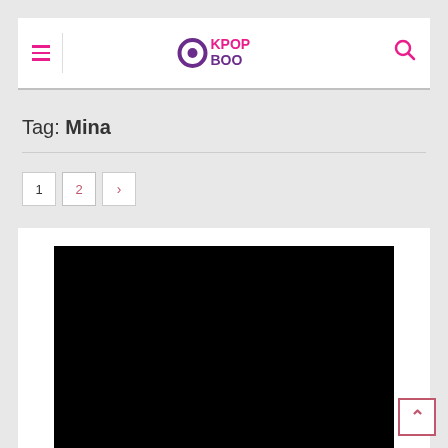KpopBoo navigation header with hamburger menu and search icon
Tag: Mina
Pagination: 1, 2, next
[Figure (photo): Black image placeholder for article thumbnail]